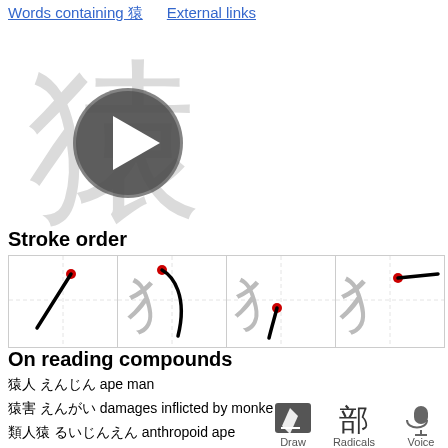Words containing 猿   External links
[Figure (illustration): Large kanji character 猿 (monkey) shown in light gray with a play button overlay circle in the center, indicating a stroke animation video]
Stroke order
[Figure (illustration): Four-cell stroke order grid showing progressive strokes of the kanji 猿. Cell 1: single diagonal stroke with red dot start. Cell 2: curved vertical stroke with red dot. Cell 3: partial radical with red dot at bottom start of new stroke. Cell 4: more complete radical with horizontal stroke and red dot.]
On reading compounds
猿人 えんじん ape man
猿害 えんがい damages inflicted by monkeys
類人猿 るいじんえん anthropoid ape
[Figure (infographic): Three bottom navigation icons: Draw (pencil/edit icon), Radicals (showing 部 kanji), Voice (microphone icon)]